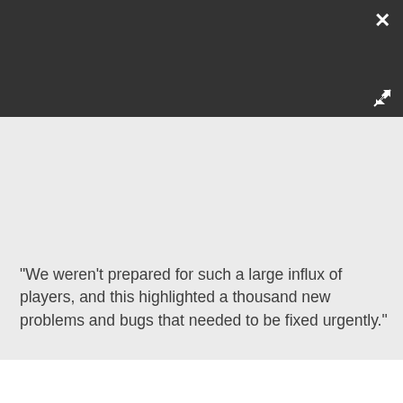[Figure (screenshot): Dark grey header panel of a modal/overlay UI with a white close (×) button in the top-right corner and a white expand/resize icon in the lower-right area of the panel.]
"We weren't prepared for such a large influx of players, and this highlighted a thousand new problems and bugs that needed to be fixed urgently."